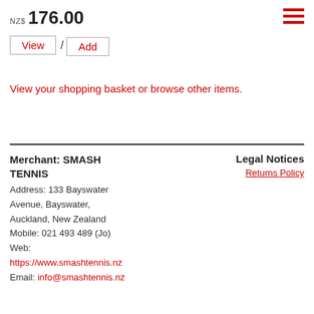NZ$ 176.00
View / Add
View your shopping basket or browse other items.
Merchant: SMASH TENNIS
Address: 133 Bayswater Avenue, Bayswater, Auckland, New Zealand
Mobile: 021 493 489 (Jo)
Web: https://www.smashtennis.nz
Email: info@smashtennis.nz
Legal Notices
Returns Policy